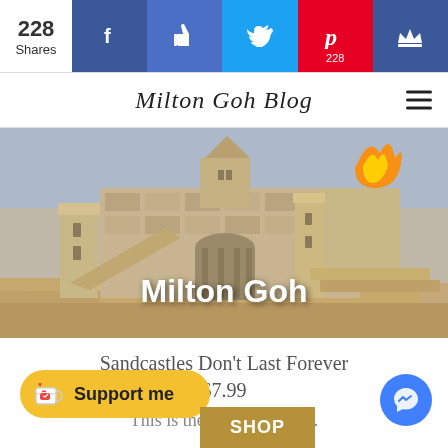228 Shares | Facebook | Like | Twitter | Pinterest 228 | Crown
Milton Goh Blog
[Figure (photo): Sandcastle scene with towers and a flame, with text 'Milton Goh' overlaid in white bold font]
Sandcastles Don't Last Forever
$7.99
This is the eBook version.
Support me
SHOP